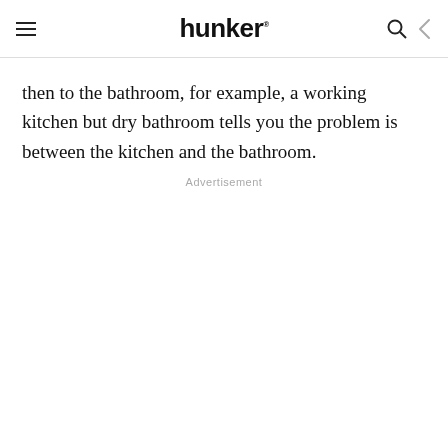hunker
then to the bathroom, for example, a working kitchen but dry bathroom tells you the problem is between the kitchen and the bathroom.
Advertisement